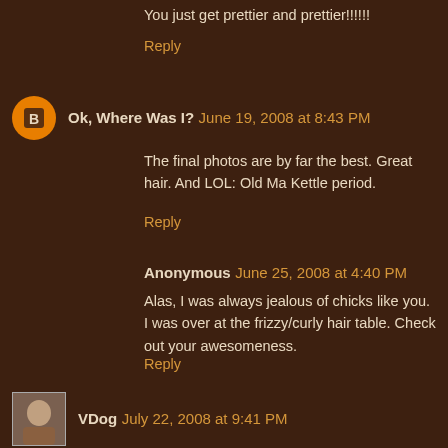You just get prettier and prettier!!!!!!
Reply
Ok, Where Was I? June 19, 2008 at 8:43 PM
The final photos are by far the best. Great hair. And LOL: Old Ma Kettle period.
Reply
Anonymous June 25, 2008 at 4:40 PM
Alas, I was always jealous of chicks like you. I was over at the frizzy/curly hair table. Check out your awesomeness.
Reply
VDog July 22, 2008 at 9:41 PM
Yer HAWT woman!!
And kind, and smart. And HAWT!!